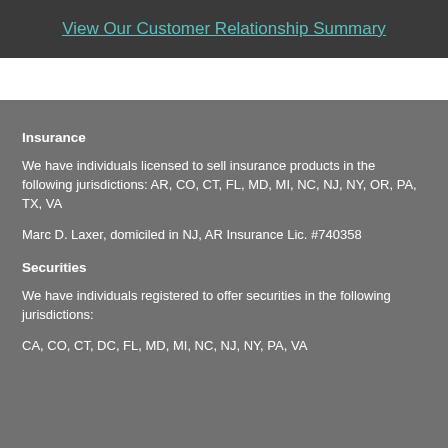View Our Customer Relationship Summary
Insurance
We have individuals licensed to sell insurance products in the following jurisdictions: AR, CO, CT, FL, MD, MI, NC, NJ, NY, OR, PA, TX, VA
Marc D. Laxer, domiciled in NJ, AR Insurance Lic. #740358
Securities
We have individuals registered to offer securities in the following jurisdictions:
CA, CO, CT, DC, FL, MD, MI, NC, NJ, NY, PA, VA